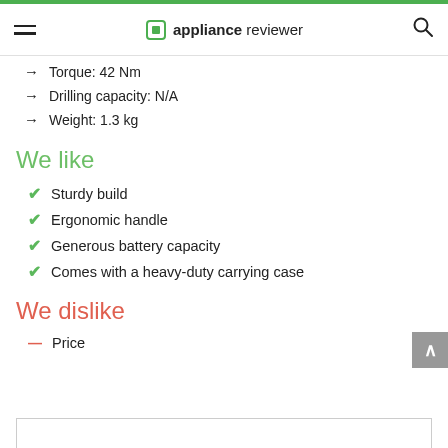appliance reviewer
Torque: 42 Nm
Drilling capacity: N/A
Weight: 1.3 kg
We like
Sturdy build
Ergonomic handle
Generous battery capacity
Comes with a heavy-duty carrying case
We dislike
Price